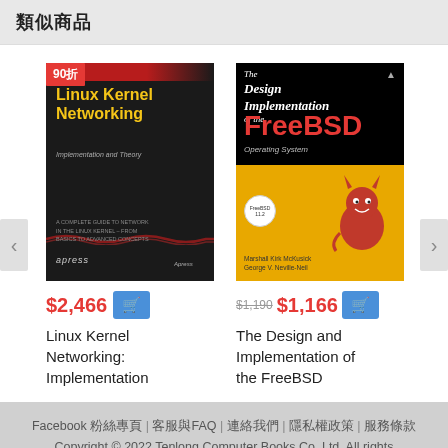類似商品
[Figure (photo): Book cover: Linux Kernel Networking: Implementation and Theory, Apress, with 90折 badge]
$2,466
Linux Kernel Networking: Implementation
[Figure (photo): Book cover: The Design and Implementation of the FreeBSD Operating System]
$1,190 $1,166
The Design and Implementation of the FreeBSD
Facebook 粉絲專頁 | 客服與FAQ | 連絡我們 | 隱私權政策 | 服務條款
Copyright © 2022 Tenlong Computer Books Co, Ltd. All rights reserved.